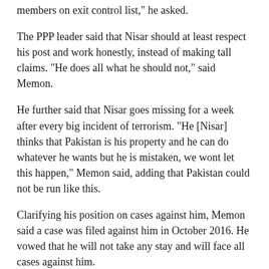members on exit control list," he asked.
The PPP leader said that Nisar should at least respect his post and work honestly, instead of making tall claims. "He does all what he should not," said Memon.
He further said that Nisar goes missing for a week after every big incident of terrorism. "He [Nisar] thinks that Pakistan is his property and he can do whatever he wants but he is mistaken, we wont let this happen," Memon said, adding that Pakistan could not be run like this.
Clarifying his position on cases against him, Memon said a case was filed against him in October 2016. He vowed that he will not take any stay and will face all cases against him.
He expressed firm faith in the judiciary and said that he returned to Pakistan to present himself before the courts and not to take advantage of any stay or stay.